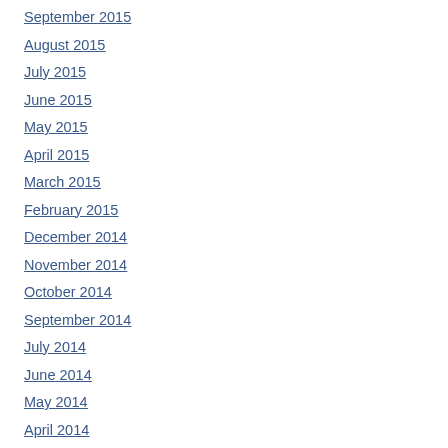September 2015
August 2015
July 2015
June 2015
May 2015
April 2015
March 2015
February 2015
December 2014
November 2014
October 2014
September 2014
July 2014
June 2014
May 2014
April 2014
March 2014
February 2014
January 2014